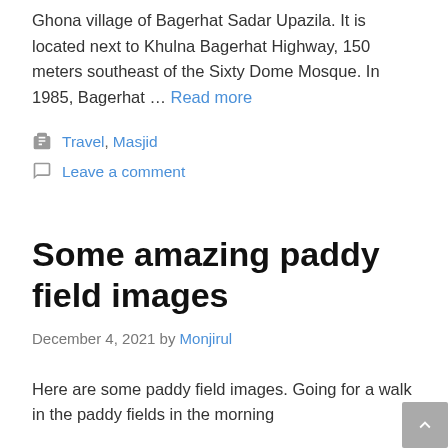Ghona village of Bagerhat Sadar Upazila. It is located next to Khulna Bagerhat Highway, 150 meters southeast of the Sixty Dome Mosque. In 1985, Bagerhat … Read more
Travel, Masjid
Leave a comment
Some amazing paddy field images
December 4, 2021 by Monjirul
Here are some paddy field images. Going for a walk in the paddy fields in the morning